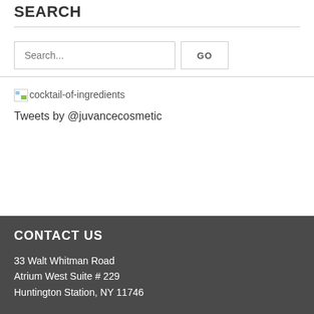SEARCH
Search...
GO
[Figure (illustration): Broken image placeholder labeled cocktail-of-ingredients]
Tweets by @juvancecosmetic
CONTACT US
33 Walt Whitman Road
Atrium West Suite # 229
Huntington Station, NY 11746